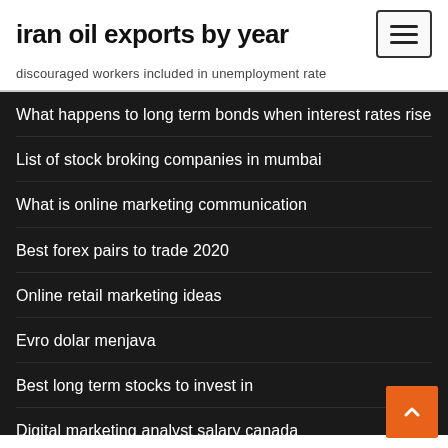iran oil exports by year
discouraged workers included in unemployment rate
What happens to long term bonds when interest rates rise
List of stock broking companies in mumbai
What is online marketing communication
Best forex pairs to trade 2020
Online retail marketing ideas
Evro dolar menjava
Best long term stocks to invest in
Digital marketing analyst salary canada
Money worth in future calculator
What is cross rate example